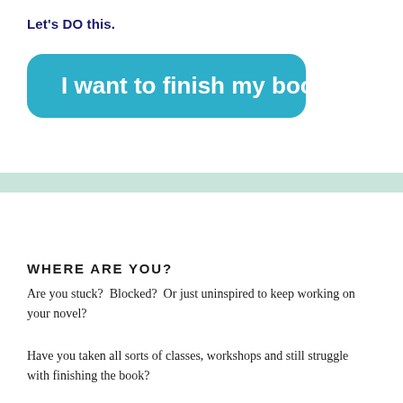Let's DO this.
[Figure (other): Teal/blue rounded rectangle button with bold white text reading 'I want to finish my book']
[Figure (other): Pale green horizontal decorative band across the full width of the page]
WHERE ARE YOU?
Are you stuck?  Blocked?  Or just uninspired to keep working on your novel?
Have you taken all sorts of classes, workshops and still struggle with finishing the book?